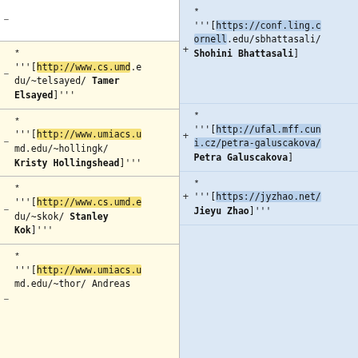* '''[http://www.cs.umd.edu/~telsayed/ Tamer Elsayed]'''
* '''[https://conf.ling.cornell.edu/sbhattasali/ Shohini Bhattasali]
* '''[http://www.umiacs.umd.edu/~hollingk/ Kristy Hollingshead]'''
* '''[http://ufal.mff.cuni.cz/petra-galuscakova/ Petra Galuscakova]
* '''[http://www.cs.umd.edu/~skok/ Stanley Kok]'''
* '''[https://jyzhao.net/ Jieyu Zhao]'''
* '''[http://www.umiacs.umd.edu/~thor/ Andreas